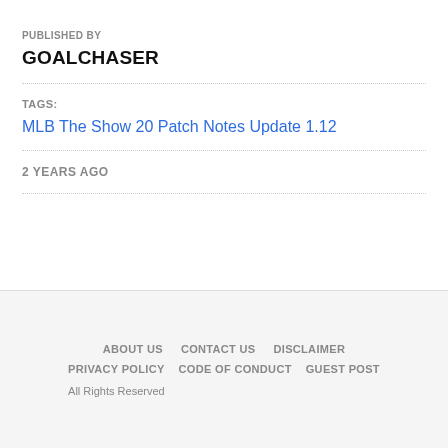PUBLISHED BY
GOALCHASER
TAGS:
MLB The Show 20 Patch Notes Update 1.12
2 YEARS AGO
ABOUT US   CONTACT US   DISCLAIMER   PRIVACY POLICY   CODE OF CONDUCT   GUEST POST   All Rights Reserved